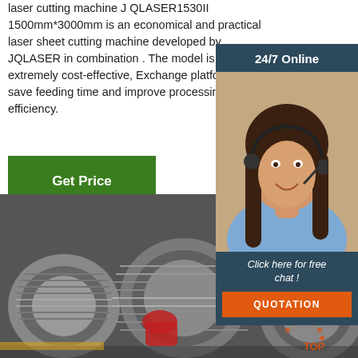laser cutting machine J QLASER1530II 1500mm*3000mm is an economical and practical laser sheet cutting machine developed by JQLASER in combination . The model is extremely cost-effective, Exchange platform save feeding time and improve processing efficiency.
Get Price
[Figure (photo): 24/7 Online banner with customer service representative wearing headset, dark blue background, with 'Click here for free chat!' text and orange QUOTATION button]
[Figure (photo): Industrial photo showing large spools/coils of steel wire or cable stacked in a warehouse or factory setting]
[Figure (logo): TOP logo in bottom right corner with orange/red arc design]